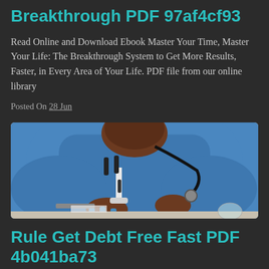Breakthrough PDF 97af4cf93
Read Online and Download Ebook Master Your Time, Master Your Life: The Breakthrough System to Get More Results, Faster, in Every Area of Your Life. PDF file from our online library
Posted On 28 Jun
[Figure (photo): A person in blue medical scrubs with a stethoscope around their neck, working with a microscope and medical sample vials on a desk]
Rule Get Debt Free Fast PDF 4b041ba73